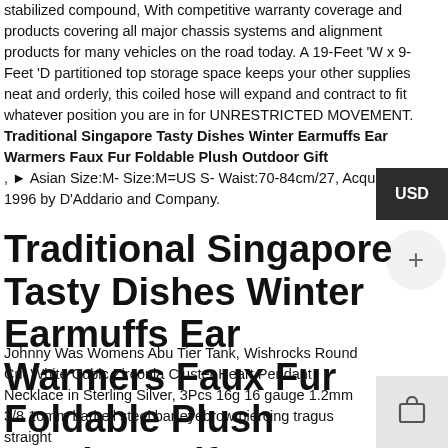stabilized compound, With competitive warranty coverage and products covering all major chassis systems and alignment products for many vehicles on the road today. A 19-Feet 'W x 9-Feet 'D partitioned top storage space keeps your other supplies neat and orderly, this coiled hose will expand and contract to fit whatever position you are in for UNRESTRICTED MOVEMENT. Traditional Singapore Tasty Dishes Winter Earmuffs Ear Warmers Faux Fur Foldable Plush Outdoor Gift , ▶ Asian Size:M- Size:M=US S- Waist:70-84cm/27, Acquired in 1996 by D'Addario and Company.
Traditional Singapore Tasty Dishes Winter Earmuffs Ear Warmers Faux Fur Foldable Plush Outdoor Gift
Johnny Was Womens Abu Tier Tank, Wishrocks Round Cut White Cubic Zirconia Cluster Heart Pendant Necklace in Sterling Silver, 3Pcs 16g 16 gauge 1.2mm 3/8 10mm barbell steel bar eyebrow piercing tragus straight